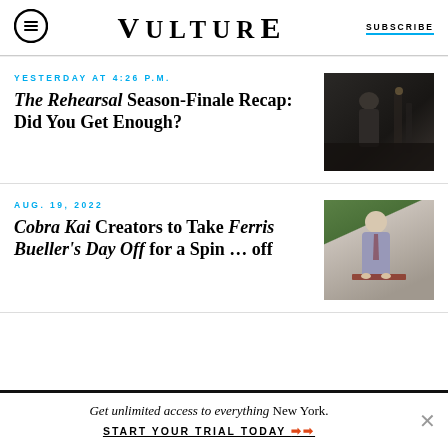VULTURE | SUBSCRIBE
YESTERDAY AT 4:26 P.M.
The Rehearsal Season-Finale Recap: Did You Get Enough?
[Figure (photo): Dark scene with a figure in hat standing near objects, from The Rehearsal TV show]
AUG. 19, 2022
Cobra Kai Creators to Take Ferris Bueller's Day Off for a Spin … off
[Figure (photo): Man in gray suit standing at a desk, from Ferris Bueller's Day Off]
Get unlimited access to everything New York. START YOUR TRIAL TODAY ➜➜